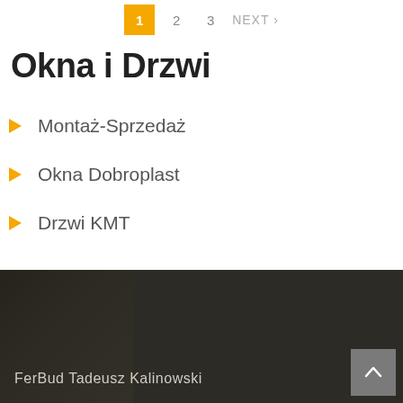1  2  3  NEXT >
Okna i Drzwi
Montaż-Sprzedaż
Okna Dobroplast
Drzwi KMT
FerBud Tadeusz Kalinowski